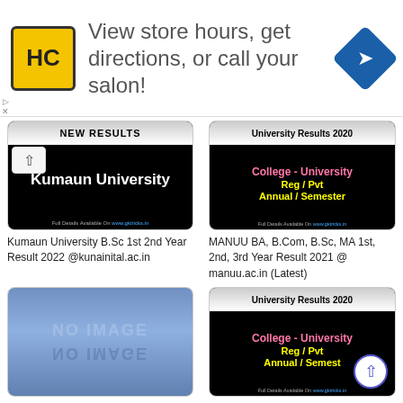[Figure (screenshot): Advertisement banner: HC logo (yellow square), text 'View store hours, get directions, or call your salon!', blue diamond navigation icon]
[Figure (screenshot): Kumaun University result thumbnail with white text on black background, showing 'New Results' top bar and 'Kumaun University' main text]
[Figure (screenshot): University Results 2020 thumbnail showing 'College - University Reg / Pvt Annual / Semester' in pink and yellow text on black]
Kumaun University B.Sc 1st 2nd Year Result 2022 @kunainital.ac.in
MANUU BA, B.Com, B.Sc, MA 1st, 2nd, 3rd Year Result 2021 @ manuu.ac.in (Latest)
[Figure (screenshot): No image placeholder with blue gradient background showing 'NO IMAGE' text]
[Figure (screenshot): University Results 2020 thumbnail showing 'College - University Reg / Pvt Annual / Semest' in pink and yellow text on black, with scroll-to-top button]
Gurugram University Admission
DTEMP Polytechnic Diploma 1-3-5